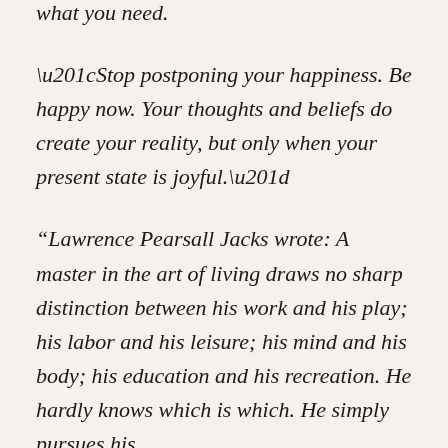what you need.
“Stop postponing your happiness. Be happy now. Your thoughts and beliefs do create your reality, but only when your present state is joyful.”
“Lawrence Pearsall Jacks wrote: A master in the art of living draws no sharp distinction between his work and his play; his labor and his leisure; his mind and his body; his education and his recreation. He hardly knows which is which. He simply pursues his